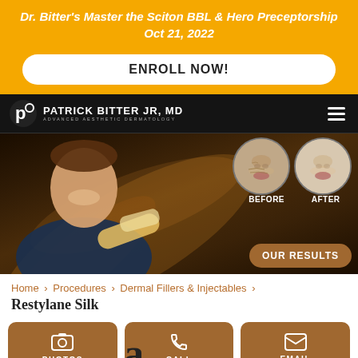Dr. Bitter's Master the Sciton BBL & Hero Preceptorship
Oct 21, 2022
ENROLL NOW!
[Figure (screenshot): Website screenshot showing Patrick Bitter Jr, MD – Advanced Aesthetic Dermatology header with navigation, a hero image of the doctor holding a laser device, before/after skin treatment circles labeled BEFORE and AFTER, and an OUR RESULTS button.]
Home › Procedures › Dermal Fillers & Injectables › Restylane Silk
PHOTOS
CALL
EMAIL